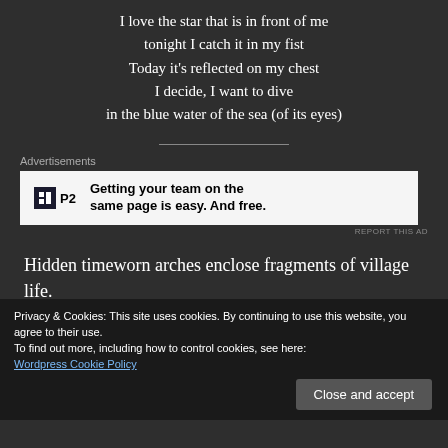I love the star that is in front of me
tonight I catch it in my fist
Today it's reflected on my chest
I decide, I want to dive
in the blue water of the sea (of its eyes)
[Figure (other): Advertisement banner for P2 - Getting your team on the same page is easy. And free.]
Hidden timeworn arches enclose fragments of village life.
Privacy & Cookies: This site uses cookies. By continuing to use this website, you agree to their use.
To find out more, including how to control cookies, see here:
Wordpress Cookie Policy